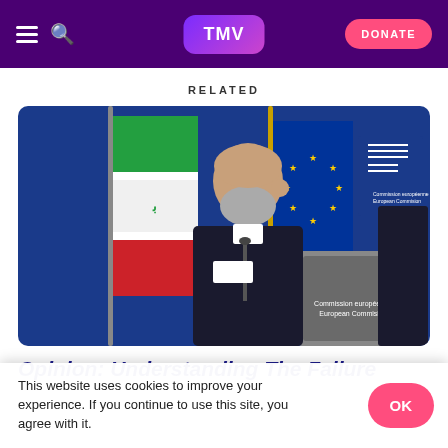TMV | DONATE
RELATED
[Figure (photo): A man in a dark suit adjusts his earpiece at a podium in front of an Iranian flag and a European Union flag. The podium reads 'Commission européenne / European Commission'. The background is blue.]
Opinion: Understanding The Failure
This website uses cookies to improve your experience. If you continue to use this site, you agree with it.